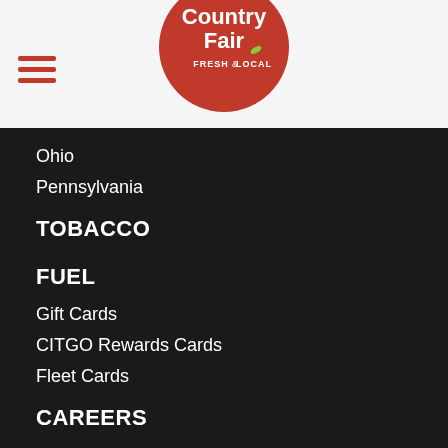Country Fair Fresh & Local
Ohio
Pennsylvania
TOBACCO
FUEL
Gift Cards
CITGO Rewards Cards
Fleet Cards
CAREERS
Apply Now
Featured Openings
Former CF Employee Change of Address
About Our Positions